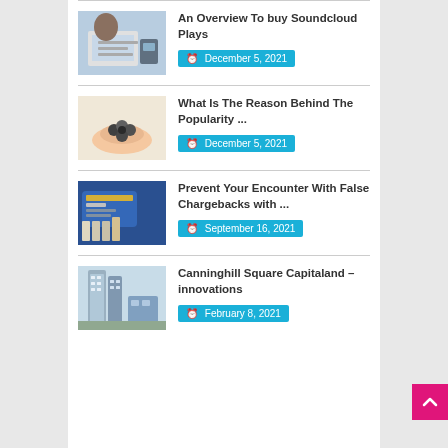[Figure (photo): Person writing or working at a desk with a laptop]
An Overview To buy Soundcloud Plays
December 5, 2021
[Figure (photo): Hand holding small objects, possibly fidget spinner or similar]
What Is The Reason Behind The Popularity ...
December 5, 2021
[Figure (photo): Credit cards and cigarettes]
Prevent Your Encounter With False Chargebacks with ...
September 16, 2021
[Figure (photo): Tall modern buildings/skyscrapers, Canninghill Square]
Canninghill Square Capitaland – innovations
February 8, 2021